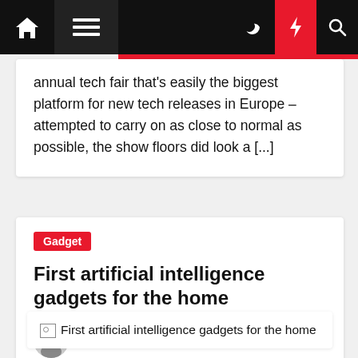Navigation bar with home, menu, moon, flash, and search icons
annual tech fair that's easily the biggest platform for new tech releases in Europe – attempted to carry on as close to normal as possible, the show floors did look a [...]
Gadget
First artificial intelligence gadgets for the home
Faye Kyzer  2 years ago
[Figure (photo): Broken image placeholder with alt text: First artificial intelligence gadgets for the home]